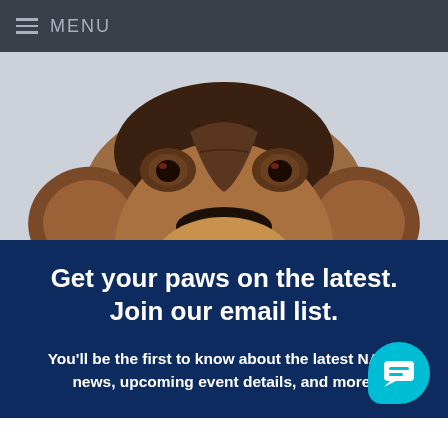MENU
[Figure (photo): Close-up photo of a brown and black dog's face peering over a surface, showing eyes, forehead, and nose against a light grey background]
Get your paws on the latest. Join our email list.
You'll be the first to know about the latest NAVC news, upcoming event details, and more!